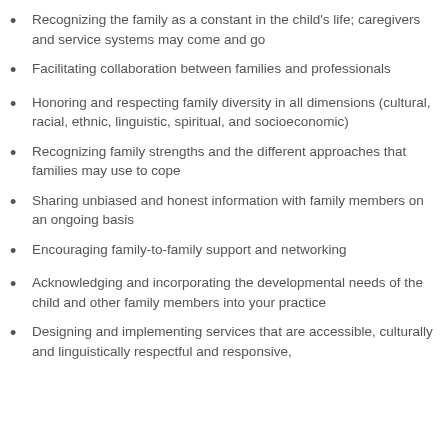Recognizing the family as a constant in the child's life; caregivers and service systems may come and go
Facilitating collaboration between families and professionals
Honoring and respecting family diversity in all dimensions (cultural, racial, ethnic, linguistic, spiritual, and socioeconomic)
Recognizing family strengths and the different approaches that families may use to cope
Sharing unbiased and honest information with family members on an ongoing basis
Encouraging family-to-family support and networking
Acknowledging and incorporating the developmental needs of the child and other family members into your practice
Designing and implementing services that are accessible, culturally and linguistically respectful and responsive,